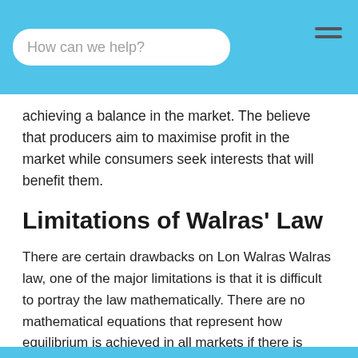How can we help?
achieving a balance in the market. The believe that producers aim to maximise profit in the market while consumers seek interests that will benefit them.
Limitations of Walras' Law
There are certain drawbacks on Lon Walras Walras law, one of the major limitations is that it is difficult to portray the law mathematically. There are no mathematical equations that represent how equilibrium is achieved in all markets if there is excess supply in one market and excess demand in another market. Also, the utility function of Walras law was regarded as not realistic by critics, and since the utility function cannot be practised, the law holds no ground.